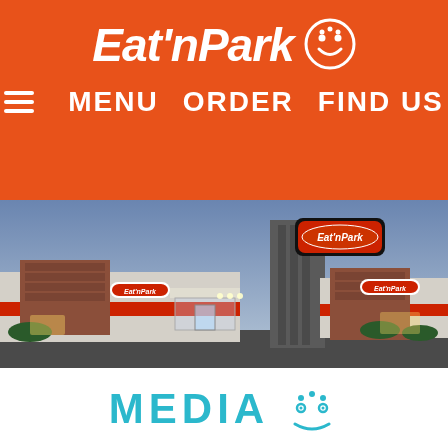[Figure (logo): Eat'n Park logo with smiley face icon on orange background]
[Figure (screenshot): Mobile website navigation bar with hamburger menu, MENU, ORDER, FIND US links on orange background]
[Figure (photo): Exterior photo of an Eat'n Park restaurant building at dusk with red accent stripe and illuminated sign]
MEDIA